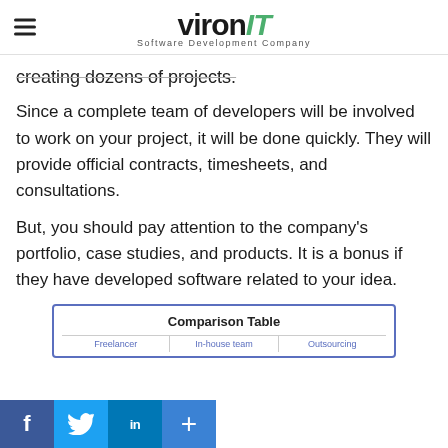vironIT Software Development Company
creating dozens of projects.
Since a complete team of developers will be involved to work on your project, it will be done quickly. They will provide official contracts, timesheets, and consultations.
But, you should pay attention to the company's portfolio, case studies, and products. It is a bonus if they have developed software related to your idea.
| Freelancer | In-house team | Outsourcing |
| --- | --- | --- |